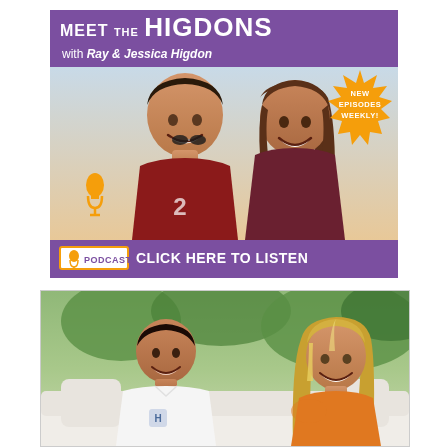[Figure (illustration): Meet The Higdons podcast advertisement. Purple header with 'MEET THE HIGDONS with Ray & Jessica Higdon'. Photo of a smiling couple (man in red jersey, woman with brown hair). Orange starburst badge reading 'NEW EPISODES WEEKLY!'. Bottom bar with 'PODCAST CLICK HERE TO LISTEN' in white text on purple.]
[Figure (photo): Photo of two people seated on a white couch in front of green trees outdoors. Man on left wearing white shirt, woman on right wearing orange top with highlighted hair.]